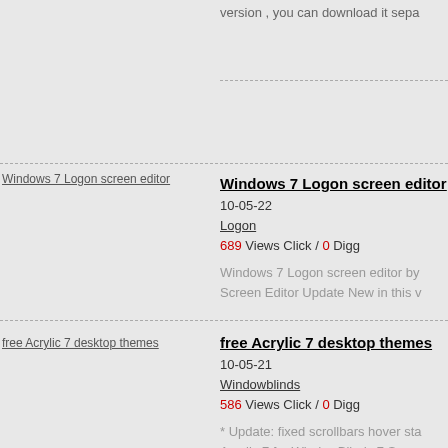version , you can download it sepa
[Figure (screenshot): Thumbnail image placeholder for Windows 7 Logon screen editor]
Windows 7 Logon screen editor
10-05-22
Logon
689 Views Click / 0 Digg
Windows 7 Logon screen editor by ... Screen Editor Update New in this v
[Figure (screenshot): Thumbnail image placeholder for free Acrylic 7 desktop themes]
free Acrylic 7 desktop themes
10-05-21
Windowblinds
586 Views Click / 0 Digg
* Update: fixed scrollbars hover sta Acrylic 7 for WindowBlinds 7 Suppo